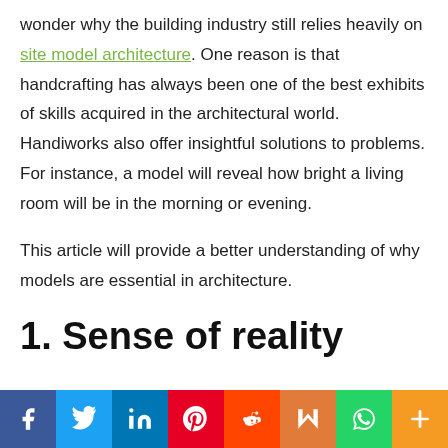wonder why the building industry still relies heavily on site model architecture. One reason is that handcrafting has always been one of the best exhibits of skills acquired in the architectural world. Handiworks also offer insightful solutions to problems. For instance, a model will reveal how bright a living room will be in the morning or evening.
This article will provide a better understanding of why models are essential in architecture.
1. Sense of reality
[Figure (infographic): Social media sharing bar with icons for Facebook, Twitter, LinkedIn, Pinterest, Reddit, Mix, WhatsApp, and More (+)]